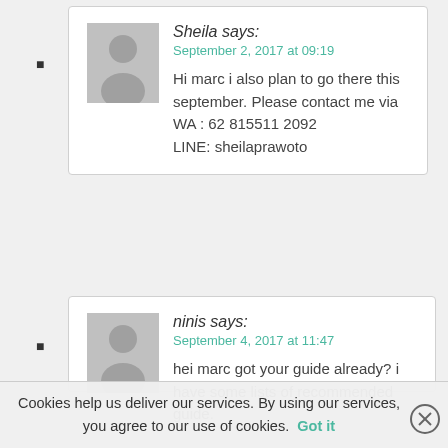Sheila says:
September 2, 2017 at 09:19
Hi marc i also plan to go there this september. Please contact me via WA : 62 815511 2092
LINE: sheilaprawoto
ninis says:
September 4, 2017 at 11:47
hei marc got your guide already? i have some lists of recommended guide.
Cookies help us deliver our services. By using our services, you agree to our use of cookies. Got it